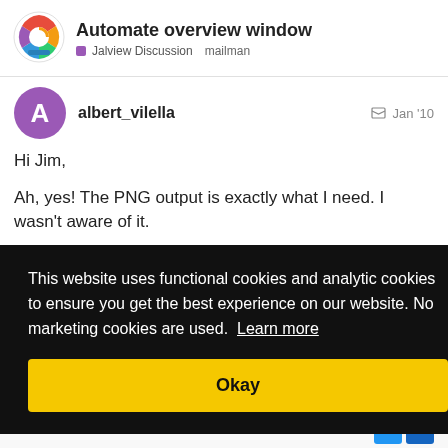Automate overview window — Jalview Discussion  mailman
albert_vilella — Jan '10
Hi Jim,
Ah, yes! The PNG output is exactly what I need. I wasn't aware of it.
[Figure (screenshot): Cookie consent banner overlay on dark background with text: 'This website uses functional cookies and analytic cookies to ensure you get the best experience on our website. No marketing cookies are used. Learn more' and a yellow 'Okay' button.]